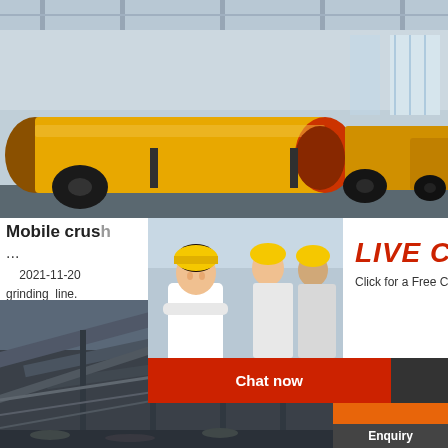[Figure (photo): Industrial yellow ball mill grinding machines in a factory warehouse with high ceiling and concrete floor]
Mobile crus...
...
2021-11-20 ... grinding line. Project,100TPH ... Project, 100TPH River Stone Processing P... Processing
[Figure (photo): Live chat popup with three workers in yellow hard hats, red LIVE CHAT heading, Click for a Free Consultation text, Chat now and Chat later buttons]
[Figure (photo): Orange advertisement sidebar showing mining/crushing machines, Enjoy 3% discount banner, Click to Chat button, and Enquiry section]
[Figure (photo): Mining conveyor belt equipment and machinery in a dark industrial site photograph]